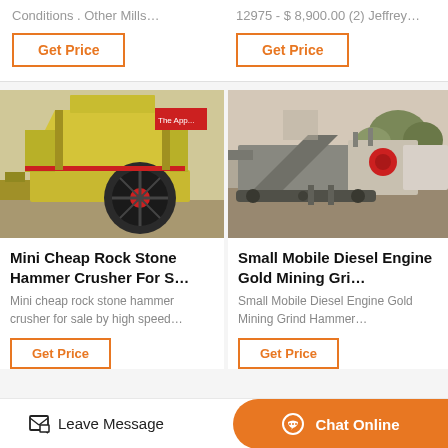Conditions . Other Mills…
12975 - $ 8,900.00 (2) Jeffrey…
Get Price
Get Price
[Figure (photo): Yellow hammer crusher machine in a factory/warehouse setting]
Mini Cheap Rock Stone Hammer Crusher For S…
Mini cheap rock stone hammer crusher for sale by high speed…
Get Price
[Figure (photo): Small mobile diesel engine gold mining grinder on a construction/mining site]
Small Mobile Diesel Engine Gold Mining Gri…
Small Mobile Diesel Engine Gold Mining Grind Hammer…
Get Price
Leave Message
Chat Online